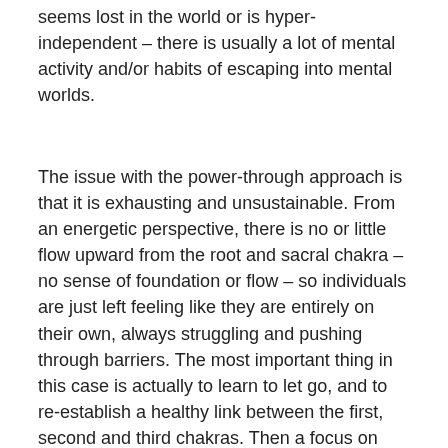seems lost in the world or is hyper-independent – there is usually a lot of mental activity and/or habits of escaping into mental worlds.
The issue with the power-through approach is that it is exhausting and unsustainable. From an energetic perspective, there is no or little flow upward from the root and sacral chakra – no sense of foundation or flow – so individuals are just left feeling like they are entirely on their own, always struggling and pushing through barriers. The most important thing in this case is actually to learn to let go, and to re-establish a healthy link between the first, second and third chakras. Then a focus on healthy boundaries emanating from the first and third chakra (root and navel) can help establish a sense of safety and filtering.